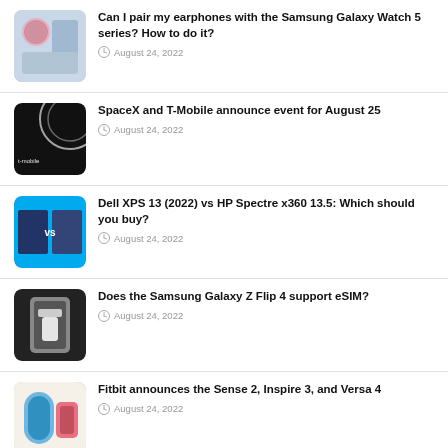Can I pair my earphones with the Samsung Galaxy Watch 5 series? How to do it? — August 24, 2022
SpaceX and T-Mobile announce event for August 25 — August 24, 2022
Dell XPS 13 (2022) vs HP Spectre x360 13.5: Which should you buy? — August 24, 2022
Does the Samsung Galaxy Z Flip 4 support eSIM? — August 24, 2022
Fitbit announces the Sense 2, Inspire 3, and Versa 4 — August 24, 2022